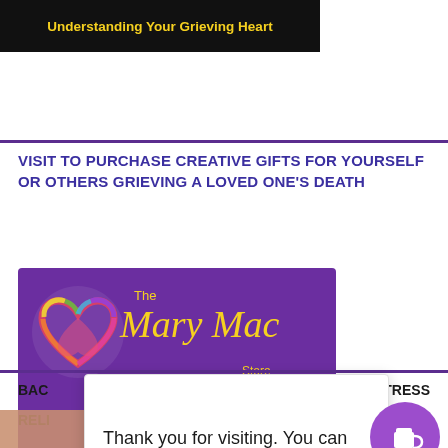[Figure (illustration): Black banner with colorful circular design at top and yellow bold text 'Understanding Your Grieving Heart']
VISIT TO PURCHASE CREATIVE GIFTS FOR YOURSELF OR OTHERS GRIEVING A LOVED ONE'S DEATH
[Figure (logo): The Mary Mac Store logo on purple background with colorful heart logo and gold script text]
BAC
IC STRESS
RELI
Thank you for visiting. You can now buy me a coffee!
[Figure (illustration): Purple circle with white coffee cup icon - Buy Me a Coffee button]